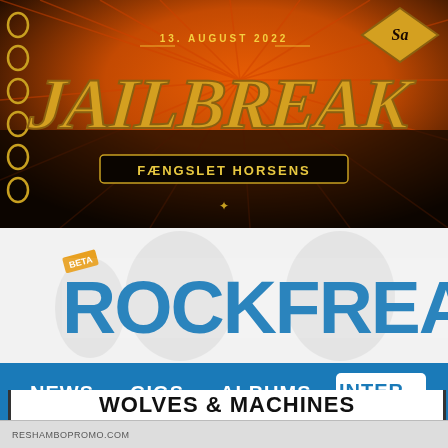[Figure (illustration): Jailbreak festival poster showing '13. AUGUST 2022' with stylized 'JAILBREAK' title and 'FÆNGSLET HORSENS' subtitle on a dark background with orange rays. Saxon logo visible top right. Spiral binding on left edge.]
[Figure (logo): Rockfreaks website logo with 'BETA' badge in orange/gold. Large blue distressed text 'ROCKFREA...' on light grey background with faint ghost/skull watermark imagery.]
[Figure (screenshot): Website navigation bar on teal/blue background showing menu items: NEWS, GIGS, ALBUMS, INTER(VIEWS) with INTER highlighted in white box.]
RESHAMBOPROMO.COM
WOLVES & MACHINES